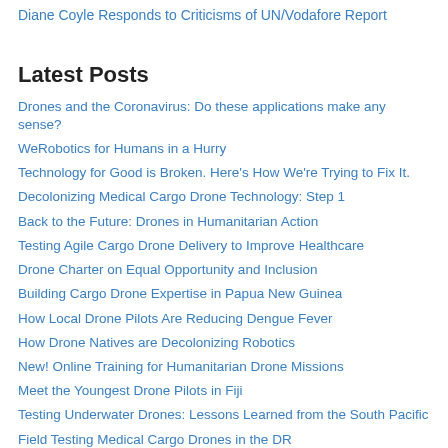Diane Coyle Responds to Criticisms of UN/Vodafore Report
Latest Posts
Drones and the Coronavirus: Do these applications make any sense?
WeRobotics for Humans in a Hurry
Technology for Good is Broken. Here's How We're Trying to Fix It.
Decolonizing Medical Cargo Drone Technology: Step 1
Back to the Future: Drones in Humanitarian Action
Testing Agile Cargo Drone Delivery to Improve Healthcare
Drone Charter on Equal Opportunity and Inclusion
Building Cargo Drone Expertise in Papua New Guinea
How Local Drone Pilots Are Reducing Dengue Fever
How Drone Natives are Decolonizing Robotics
New! Online Training for Humanitarian Drone Missions
Meet the Youngest Drone Pilots in Fiji
Testing Underwater Drones: Lessons Learned from the South Pacific
Field Testing Medical Cargo Drones in the DR
Empowering Youths in Fiji to Explore their Islands with Aerial and Marine Robotics